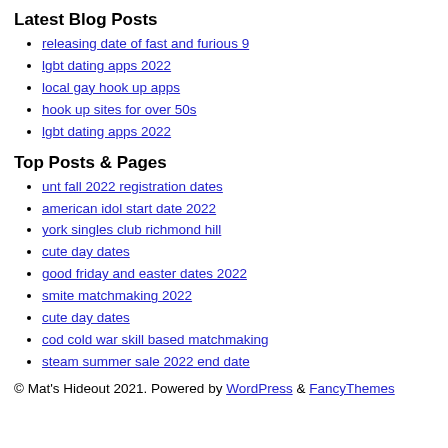Latest Blog Posts
releasing date of fast and furious 9
lgbt dating apps 2022
local gay hook up apps
hook up sites for over 50s
lgbt dating apps 2022
Top Posts & Pages
unt fall 2022 registration dates
american idol start date 2022
york singles club richmond hill
cute day dates
good friday and easter dates 2022
smite matchmaking 2022
cute day dates
cod cold war skill based matchmaking
steam summer sale 2022 end date
© Mat's Hideout 2021. Powered by WordPress & FancyThemes